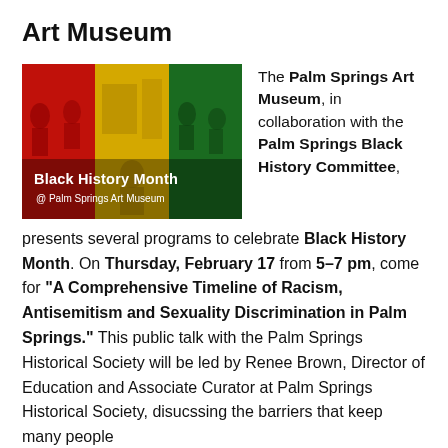Art Museum
[Figure (illustration): Black History Month banner with red, yellow, and green color panels showing art museum silhouettes. Text reads 'Black History Month @ Palm Springs Art Museum']
The Palm Springs Art Museum, in collaboration with the Palm Springs Black History Committee, presents several programs to celebrate Black History Month. On Thursday, February 17 from 5–7 pm, come for "A Comprehensive Timeline of Racism, Antisemitism and Sexuality Discrimination in Palm Springs." This public talk with the Palm Springs Historical Society will be led by Renee Brown, Director of Education and Associate Curator at Palm Springs Historical Society, disucssing the barriers that keep many people